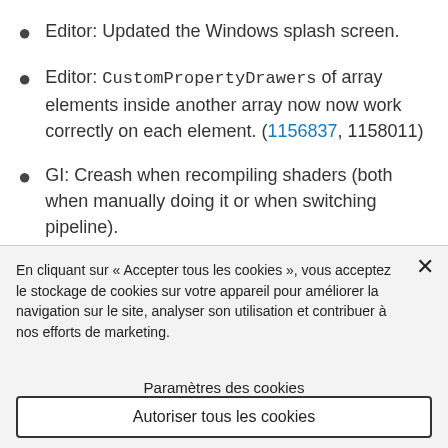Editor: Updated the Windows splash screen.
Editor: CustomPropertyDrawers of array elements inside another array now now work correctly on each element. (1156837, 1158011)
GI: Creash when recompiling shaders (both when manually doing it or when switching pipeline).
En cliquant sur « Accepter tous les cookies », vous acceptez le stockage de cookies sur votre appareil pour améliorer la navigation sur le site, analyser son utilisation et contribuer à nos efforts de marketing.
Paramètres des cookies
Autoriser tous les cookies